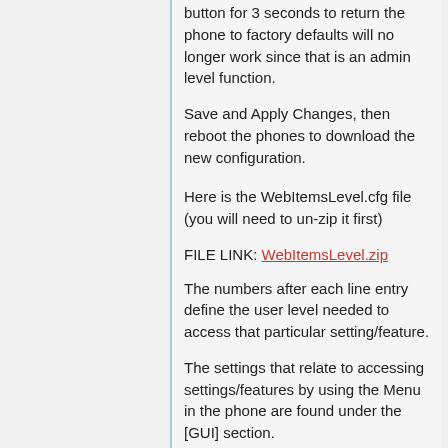button for 3 seconds to return the phone to factory defaults will no longer work since that is an admin level function.
Save and Apply Changes, then reboot the phones to download the new configuration.
Here is the WebItemsLevel.cfg file (you will need to un-zip it first)
FILE LINK: WebItemsLevel.zip
The numbers after each line entry define the user level needed to access that particular setting/feature.
The settings that relate to accessing settings/features by using the Menu in the phone are found under the [GUI] section.
0 = User